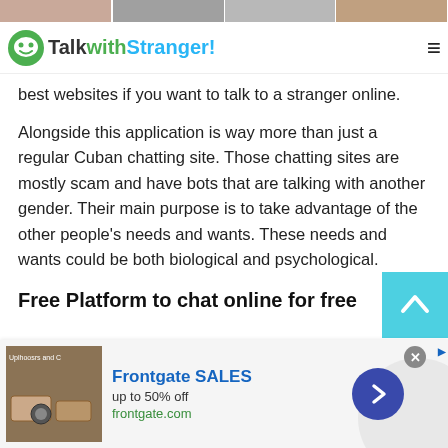[Figure (photo): Photo strip of people at top of page]
TalkwithStranger!
best websites if you want to talk to a stranger online.
Alongside this application is way more than just a regular Cuban chatting site. Those chatting sites are mostly scam and have bots that are talking with another gender. Their main purpose is to take advantage of the other people's needs and wants. These needs and wants could be both biological and psychological.
Free Platform to chat online for free
[Figure (other): Advertisement banner: Frontgate SALES up to 50% off, frontgate.com]